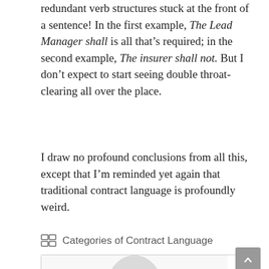redundant verb structures stuck at the front of a sentence! In the first example, The Lead Manager shall is all that's required; in the second example, The insurer shall not. But I don't expect to start seeing double throat-clearing all over the place.
I draw no profound conclusions from all this, except that I'm reminded yet again that traditional contract language is profoundly weird.
Categories of Contract Language
[Figure (photo): Partial view of a profile photo at the bottom of the page, showing the top of a person's head]